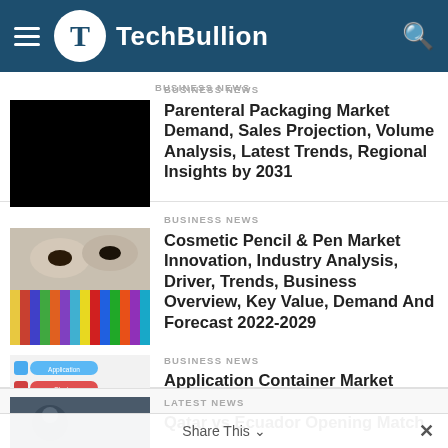TechBullion
BUSINESS NEWS
Parenteral Packaging Market Demand, Sales Projection, Volume Analysis, Latest Trends, Regional Insights by 2031
BUSINESS NEWS
Cosmetic Pencil & Pen Market Innovation, Industry Analysis, Driver, Trends, Business Overview, Key Value, Demand And Forecast 2022-2029
BUSINESS NEWS
Application Container Market Uprising As Investors Drive To It
LATEST NEWS
Qatar vs Ecuador Opening Match
Share This